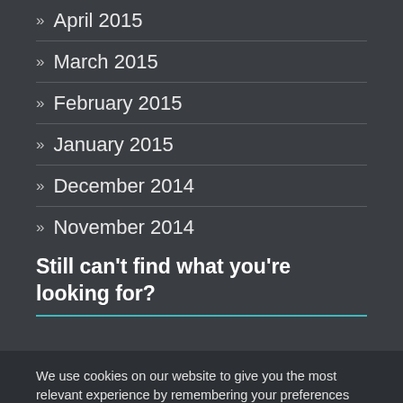» April 2015
» March 2015
» February 2015
» January 2015
» December 2014
» November 2014
Still can't find what you're looking for?
We use cookies on our website to give you the most relevant experience by remembering your preferences and repeat visits. By clicking “Accept”, you consent to the use of ALL the cookies.
Cookie settings  ACCEPT